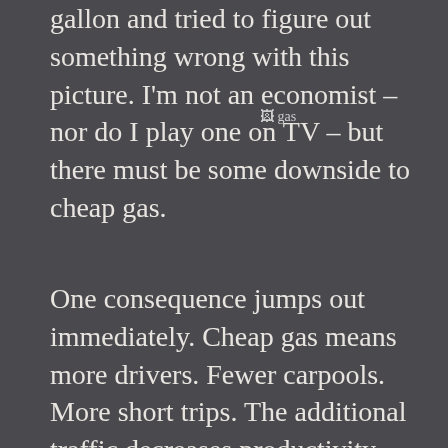gallon and tried to figure out something wrong with this picture. I'm not an economist – nor do I play one on TV – but there must be some downside to cheap gas.
[Figure (photo): A broken image placeholder labeled 'gas']
One consequence jumps out immediately. Cheap gas means more drivers. Fewer carpools. More short trips. The additional traffic decreases productivity